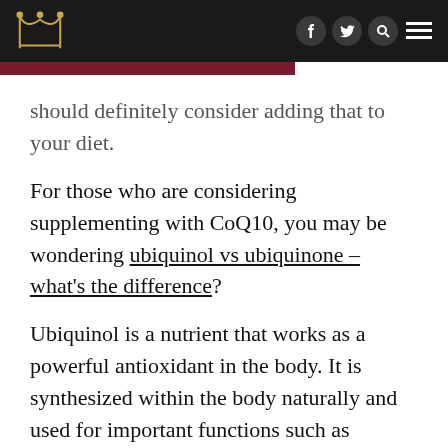[Logo] [Facebook] [Twitter] [Search] [Menu]
should definitely consider adding that to your diet.
For those who are considering supplementing with CoQ10, you may be wondering ubiquinol vs ubiquinone – what's the difference?
Ubiquinol is a nutrient that works as a powerful antioxidant in the body. It is synthesized within the body naturally and used for important functions such as